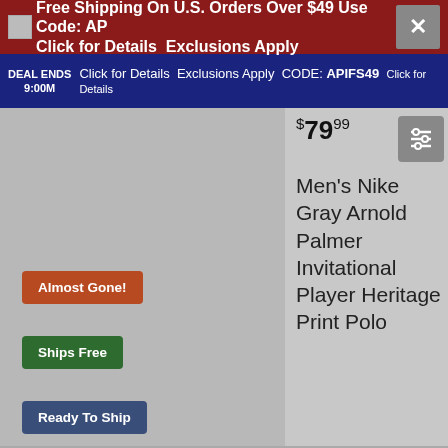Free Shipping On U.S. Orders Over $49 Use Code: APIFS49 Click for Details Exclusions Apply | DEAL ENDS 9:00M | PROMO CODE: APIFS49 Click for Details
[Figure (screenshot): Product image placeholder for Men's Nike Gray Arnold Palmer Invitational Player Heritage Print Polo]
$79.99
Men's Nike Gray Arnold Palmer Invitational Player Heritage Print Polo
Almost Gone!
Ships Free
Ready To Ship
[Figure (screenshot): Product image placeholder for Men's FootJoy Pink Arnold Palmer Invitational Triple Pinstripe Lisle Polo]
$84.99
Men's FootJoy Pink Arnold Palmer Invitational Triple Pinstripe Lisle Polo